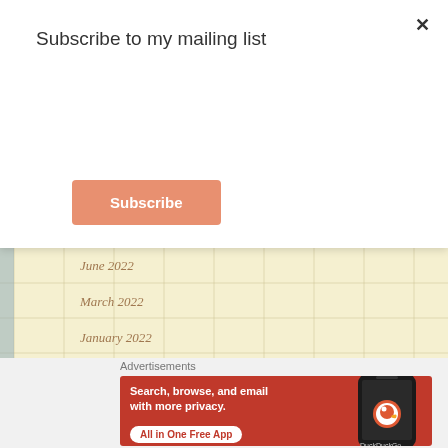Subscribe to my mailing list
Subscribe
June 2022
March 2022
January 2022
March 2021
April 2020
March 2020
Advertisements
[Figure (screenshot): DuckDuckGo advertisement: Search, browse, and email with more privacy. All in One Free App.]